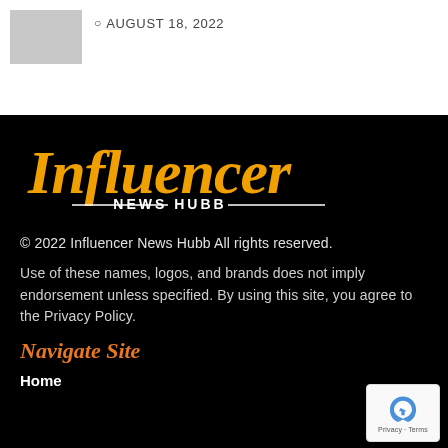[Figure (photo): Thumbnail image placeholder (blurred/grey)]
© AUGUST 18, 2022
[Figure (logo): Influencer News Hubb logo — orange script 'Influencer' with white 'NEWS HUBB' below on black background]
© 2022 Influencer News Hubb All rights reserved.
Use of these names, logos, and brands does not imply endorsement unless specified. By using this site, you agree to the Privacy Policy.
Navigate Site
Home